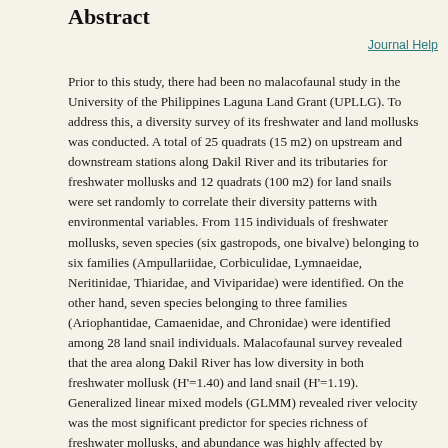Abstract
Journal Help
Prior to this study, there had been no malacofaunal study in the University of the Philippines Laguna Land Grant (UPLLG). To address this, a diversity survey of its freshwater and land mollusks was conducted. A total of 25 quadrats (15 m2) on upstream and downstream stations along Dakil River and its tributaries for freshwater mollusks and 12 quadrats (100 m2) for land snails were set randomly to correlate their diversity patterns with environmental variables. From 115 individuals of freshwater mollusks, seven species (six gastropods, one bivalve) belonging to six families (Ampullariidae, Corbiculidae, Lymnaeidae, Neritinidae, Thiaridae, and Viviparidae) were identified. On the other hand, seven species belonging to three families (Ariophantidae, Camaenidae, and Chronidae) were identified among 28 land snail individuals. Malacofaunal survey revealed that the area along Dakil River has low diversity in both freshwater mollusk (H'=1.40) and land snail (H'=1.19). Generalized linear mixed models (GLMM) revealed river velocity was the most significant predictor for species richness of freshwater mollusks, and abundance was highly affected by temperature and inversely affected by canopy cover. Furthermore, altitude was the most significant predictor for species richness of land snails and canopy cover for abundance. Understanding the molluscan diversity could help determine the environment and ecological conditions of